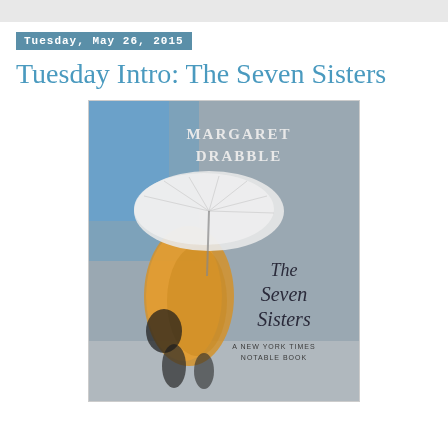Tuesday, May 26, 2015
Tuesday Intro: The Seven Sisters
[Figure (photo): Book cover of 'The Seven Sisters' by Margaret Drabble. Shows a blurred figure of a woman in a yellow coat holding a white umbrella, walking in front of a grey building. Title text 'The Seven Sisters' and author name 'MARGARET DRABBLE' appear on the cover, along with 'A NEW YORK TIMES NOTABLE BOOK'.]